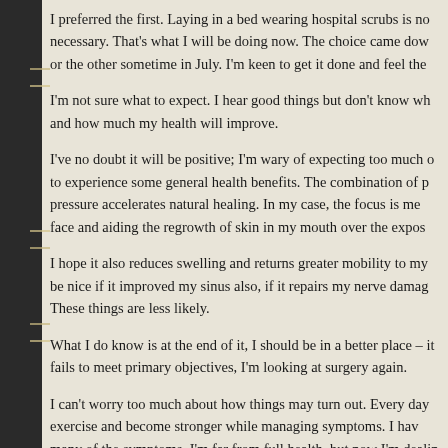I preferred the first. Laying in a bed wearing hospital scrubs is no necessary. That's what I will be doing now. The choice came dow or the other sometime in July. I'm keen to get it done and feel the
I'm not sure what to expect. I hear good things but don't know wh and how much my health will improve.
I've no doubt it will be positive; I'm wary of expecting too much o to experience some general health benefits. The combination of p pressure accelerates natural healing. In my case, the focus is me face and aiding the regrowth of skin in my mouth over the expos
I hope it also reduces swelling and returns greater mobility to my be nice if it improved my sinus also, if it repairs my nerve damag These things are less likely.
What I do know is at the end of it, I should be in a better place – it fails to meet primary objectives, I'm looking at surgery again.
I can't worry too much about how things may turn out. Every day exercise and become stronger while managing symptoms. I hav many of the symptoms. I'm far from full health, but now I'm dealin lesser issues rather than one big issue. It can be annoying, and i lifestyle, but you accept it for now and keep going.